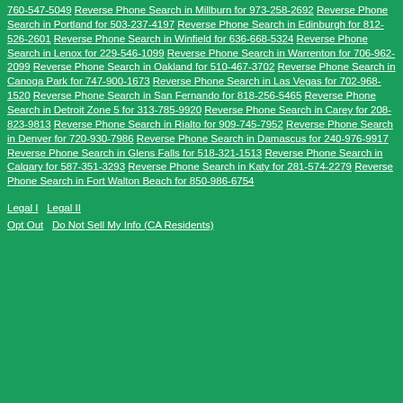760-547-5049 Reverse Phone Search in Millburn for 973-258-2692 Reverse Phone Search in Portland for 503-237-4197 Reverse Phone Search in Edinburgh for 812-526-2601 Reverse Phone Search in Winfield for 636-668-5324 Reverse Phone Search in Lenox for 229-546-1099 Reverse Phone Search in Warrenton for 706-962-2099 Reverse Phone Search in Oakland for 510-467-3702 Reverse Phone Search in Canoga Park for 747-900-1673 Reverse Phone Search in Las Vegas for 702-968-1520 Reverse Phone Search in San Fernando for 818-256-5465 Reverse Phone Search in Detroit Zone 5 for 313-785-9920 Reverse Phone Search in Carey for 208-823-9813 Reverse Phone Search in Rialto for 909-745-7952 Reverse Phone Search in Denver for 720-930-7986 Reverse Phone Search in Damascus for 240-976-9917 Reverse Phone Search in Glens Falls for 518-321-1513 Reverse Phone Search in Calgary for 587-351-3293 Reverse Phone Search in Katy for 281-574-2279 Reverse Phone Search in Fort Walton Beach for 850-986-6754
Legal I   Legal II   Opt Out   Do Not Sell My Info (CA Residents)